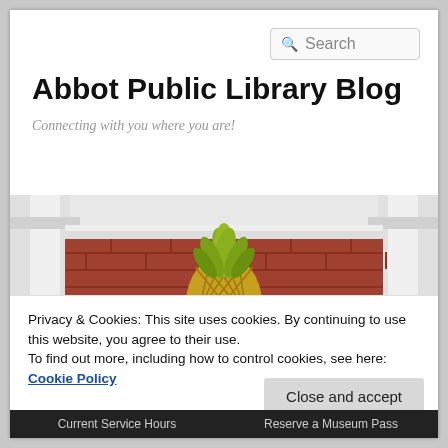[Figure (screenshot): Search box with magnifying glass icon and placeholder text 'Search']
Abbot Public Library Blog
Connecting with you where you are!
[Figure (photo): A golden pineapple decoration mounted above a brick wall between two white columns, photographed from below]
Privacy & Cookies: This site uses cookies. By continuing to use this website, you agree to their use.
To find out more, including how to control cookies, see here: Cookie Policy
Close and accept
Current Service Hours    Reserve a Museum Pass